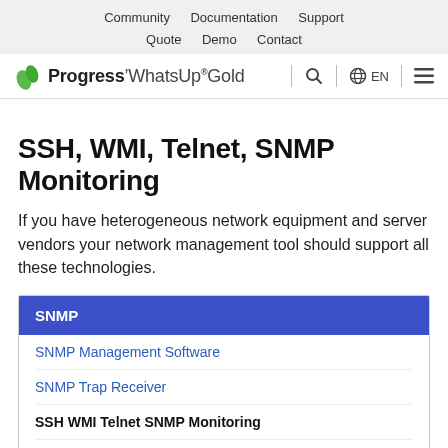Community  Documentation  Support
Quote  Demo  Contact
Progress WhatsUp Gold  Q  EN  ☰
SSH, WMI, Telnet, SNMP Monitoring
If you have heterogeneous network equipment and server vendors your network management tool should support all these technologies.
| SNMP |
| --- |
| SNMP Management Software |
| SNMP Trap Receiver |
| SSH WMI Telnet SNMP Monitoring |
| Windows SNMP Server |